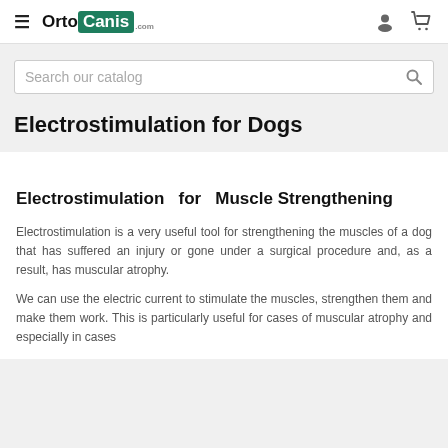OrtoCanis — navigation bar with hamburger menu, logo, user icon, cart icon
Search our catalog
Electrostimulation for Dogs
Electrostimulation for Muscle Strengthening
Electrostimulation is a very useful tool for strengthening the muscles of a dog that has suffered an injury or gone under a surgical procedure and, as a result, has muscular atrophy.
We can use the electric current to stimulate the muscles, strengthen them and make them work. This is particularly useful for cases of muscular atrophy and especially in cases